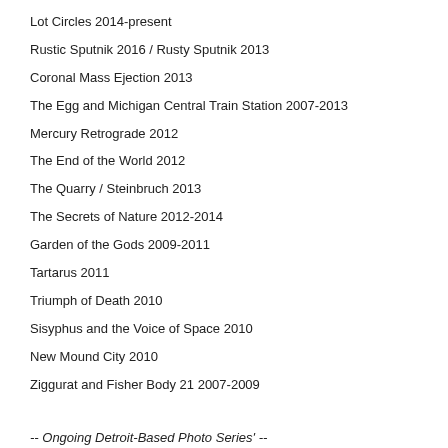Lot Circles 2014-present
Rustic Sputnik 2016 / Rusty Sputnik 2013
Coronal Mass Ejection 2013
The Egg and Michigan Central Train Station 2007-2013
Mercury Retrograde 2012
The End of the World 2012
The Quarry / Steinbruch 2013
The Secrets of Nature 2012-2014
Garden of the Gods 2009-2011
Tartarus 2011
Triumph of Death 2010
Sisyphus and the Voice of Space 2010
New Mound City 2010
Ziggurat and Fisher Body 21 2007-2009
-- Ongoing Detroit-Based Photo Series' --
In The Strait Of The Crimson Nain 2007-present
Detroit Nights 2007-present
Shipwrecks 1999-present